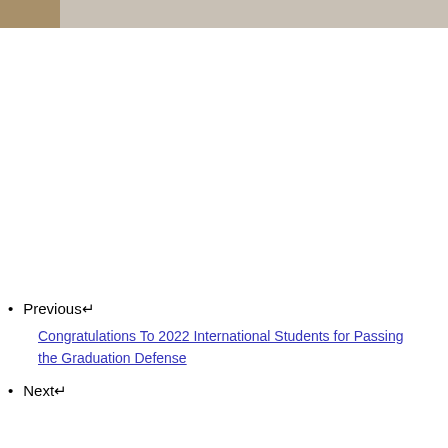[Figure (photo): Partial view of a photograph at the top of the page, showing what appears to be an indoor scene with warm tones.]
Previous↵
Congratulations To 2022 International Students for Passing the Graduation Defense
Next↵